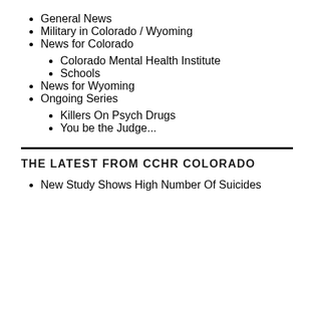General News
Military in Colorado / Wyoming
News for Colorado
Colorado Mental Health Institute
Schools
News for Wyoming
Ongoing Series
Killers On Psych Drugs
You be the Judge...
THE LATEST FROM CCHR COLORADO
New Study Shows High Number Of Suicides